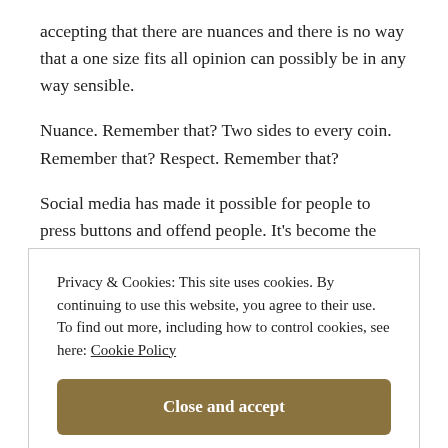accepting that there are nuances and there is no way that a one size fits all opinion can possibly be in any way sensible.
Nuance. Remember that? Two sides to every coin. Remember that? Respect. Remember that?
Social media has made it possible for people to press buttons and offend people. It's become the new barrier, like a car, when a driver cuts you up and you
Privacy & Cookies: This site uses cookies. By continuing to use this website, you agree to their use.
To find out more, including how to control cookies, see here: Cookie Policy
Close and accept
you know), an instinct of the right, of trying, to air display of a car, but also your opinion, and so on of our